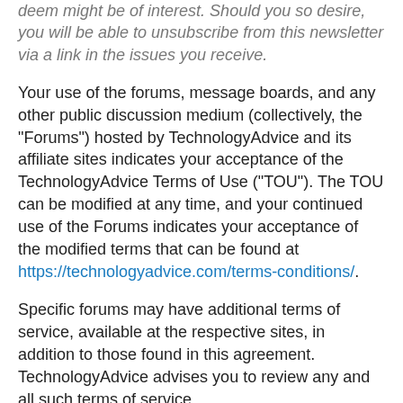deem might be of interest. Should you so desire, you will be able to unsubscribe from this newsletter via a link in the issues you receive.
Your use of the forums, message boards, and any other public discussion medium (collectively, the "Forums") hosted by TechnologyAdvice and its affiliate sites indicates your acceptance of the TechnologyAdvice Terms of Use ("TOU"). The TOU can be modified at any time, and your continued use of the Forums indicates your acceptance of the modified terms that can be found at https://technologyadvice.com/terms-conditions/.
Specific forums may have additional terms of service, available at the respective sites, in addition to those found in this agreement. TechnologyAdvice advises you to review any and all such terms of service.
Please remember that the open and